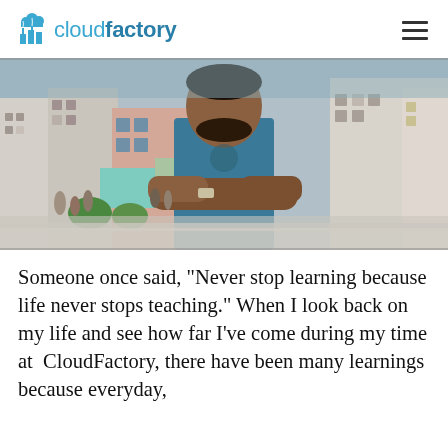cloudfactory
[Figure (photo): A man with crossed arms wearing a teal/blue t-shirt standing in front of a busy urban street scene with buildings and crowds in the background, likely in Nepal.]
Someone once said, “Never stop learning because life never stops teaching.” When I look back on my life and see how far I’ve come during my time at  CloudFactory, there have been many learnings because everyday,